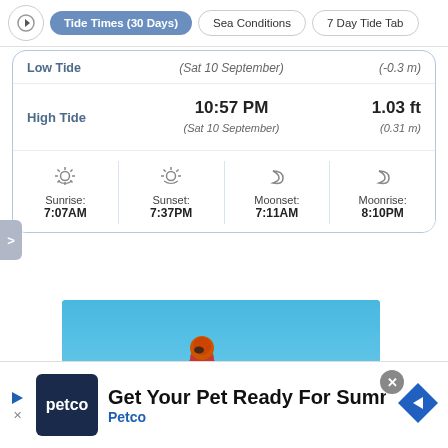Tide Times (30 Days) | Sea Conditions | 7 Day Tide Tab
|  | Time | Height |
| --- | --- | --- |
| Low Tide | (Sat 10 September) | (-0.3 m) |
| High Tide | 10:57 PM
(Sat 10 September) | 1.03 ft
(0.31 m) |
| Sunrise | Sunset | Moonset | Moonrise |
| --- | --- | --- | --- |
| 7:07AM | 7:37PM | 7:11AM | 8:10PM |
[Figure (photo): A skier performing a jump trick against a blue sky background]
Get Your Pet Ready For Summe
Petco